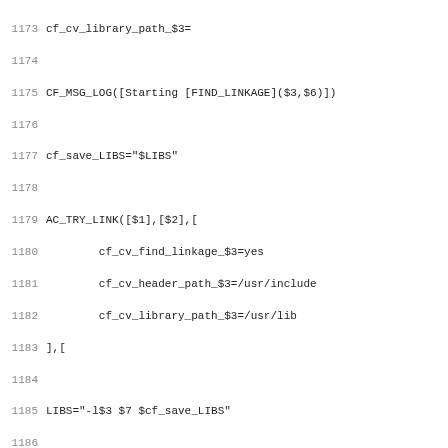[Figure (screenshot): Source code listing showing shell/autoconf script lines 1173-1204, displaying macro calls for CF_MSG_LOG, AC_TRY_LINK, CF_VERBOSE, CF_HEADER_PATH and related variable assignments for library linkage detection.]